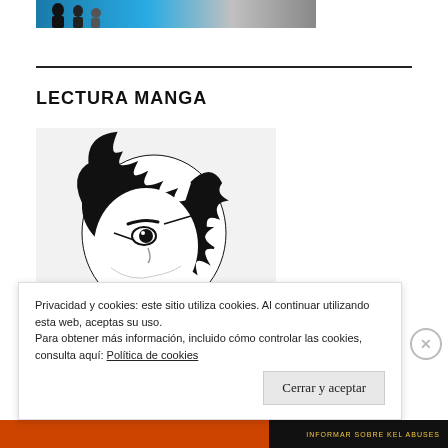[Figure (photo): Top banner image showing manga/anime style silhouettes on a blue background]
LECTURA MANGA
[Figure (illustration): Black and white manga-style illustration of a character's face with spiky hair and intense expression]
Privacidad y cookies: este sitio utiliza cookies. Al continuar utilizando esta web, aceptas su uso.
Para obtener más información, incluido cómo controlar las cookies, consulta aquí: Política de cookies
Cerrar y aceptar